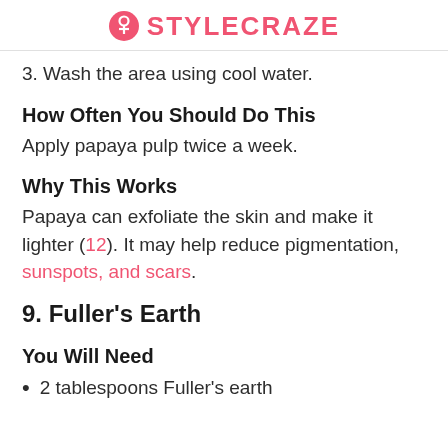STYLECRAZE
3. Wash the area using cool water.
How Often You Should Do This
Apply papaya pulp twice a week.
Why This Works
Papaya can exfoliate the skin and make it lighter (12). It may help reduce pigmentation, sunspots, and scars.
9. Fuller's Earth
You Will Need
2 tablespoons Fuller's earth